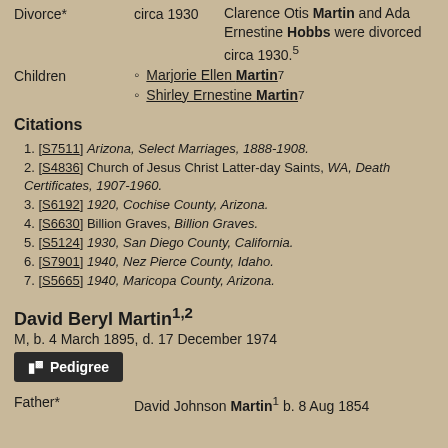Divorce*  circa 1930  Clarence Otis Martin and Ada Ernestine Hobbs were divorced circa 1930.5
Marjorie Ellen Martin7
Shirley Ernestine Martin7
Citations
1. [S7511] Arizona, Select Marriages, 1888-1908.
2. [S4836] Church of Jesus Christ Latter-day Saints, WA, Death Certificates, 1907-1960.
3. [S6192] 1920, Cochise County, Arizona.
4. [S6630] Billion Graves, Billion Graves.
5. [S5124] 1930, San Diego County, California.
6. [S7901] 1940, Nez Pierce County, Idaho.
7. [S5665] 1940, Maricopa County, Arizona.
David Beryl Martin1,2
M, b. 4 March 1895, d. 17 December 1974
Pedigree
Father*  David Johnson Martin1 b. 8 Aug 1854